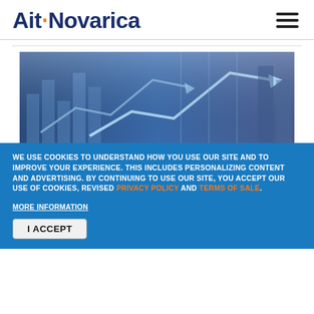Aite Novarica
[Figure (illustration): Financial chart background image with upward trending arrows and bar chart elements in blue tones]
WE USE COOKIES TO UNDERSTAND HOW YOU USE OUR SITE AND TO IMPROVE YOUR EXPERIENCE. THIS INCLUDES PERSONALIZING CONTENT AND ADVERTISING. BY CONTINUING TO USE OUR SITE, YOU ACCEPT OUR USE OF COOKIES, REVISED PRIVACY POLICY AND TERMS OF SALE.
MORE INFORMATION
I ACCEPT